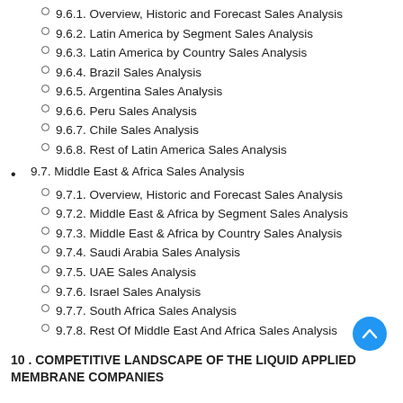9.6.1. Overview, Historic and Forecast Sales Analysis
9.6.2. Latin America by Segment Sales Analysis
9.6.3. Latin America by Country Sales Analysis
9.6.4. Brazil Sales Analysis
9.6.5. Argentina Sales Analysis
9.6.6. Peru Sales Analysis
9.6.7. Chile Sales Analysis
9.6.8. Rest of Latin America Sales Analysis
9.7. Middle East & Africa Sales Analysis
9.7.1. Overview, Historic and Forecast Sales Analysis
9.7.2. Middle East & Africa by Segment Sales Analysis
9.7.3. Middle East & Africa by Country Sales Analysis
9.7.4. Saudi Arabia Sales Analysis
9.7.5. UAE Sales Analysis
9.7.6. Israel Sales Analysis
9.7.7. South Africa Sales Analysis
9.7.8. Rest Of Middle East And Africa Sales Analysis
10 . COMPETITIVE LANDSCAPE OF THE LIQUID APPLIED MEMBRANE COMPANIES